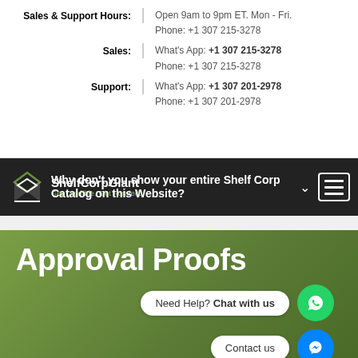Sales & Support Hours: Open 9am to 9pm ET. Mon - Fri.
Phone: +1 307 215-3278
Sales: What's App: +1 307 215-3278
Phone: +1 307 215-3278
Support: What's App: +1 307 201-2978
Phone: +1 307 201-2978
[Figure (screenshot): ShelfCorpGiant website navigation bar with logo and hamburger menu, showing question text 'Why don't you show your entire Shelf Corp Catalog on this Website?']
Approval Proofs
Need Help? Chat with us
Contact us